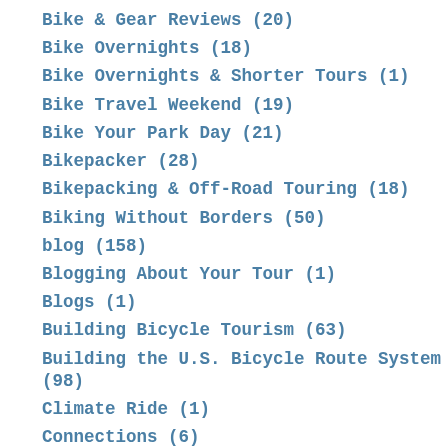Bike & Gear Reviews (20)
Bike Overnights (18)
Bike Overnights & Shorter Tours (1)
Bike Travel Weekend (19)
Bike Your Park Day (21)
Bikepacker (28)
Bikepacking & Off-Road Touring (18)
Biking Without Borders (50)
blog (158)
Blogging About Your Tour (1)
Blogs (1)
Building Bicycle Tourism (63)
Building the U.S. Bicycle Route System (98)
Climate Ride (1)
Connections (6)
Corporate Spotlight (33)
Cyclists Only Lodging (13)
Cyclo Notes (66)
Epic Montana Film Series (2)
Fat Bike February (9)